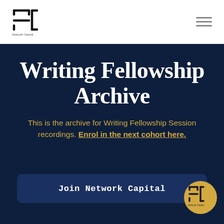Network Capital logo and navigation
Writing Fellowship Archive
This is the archive for Writing Fellowship Session recordings. Enrol in the next cohort here.
Join Network Capital